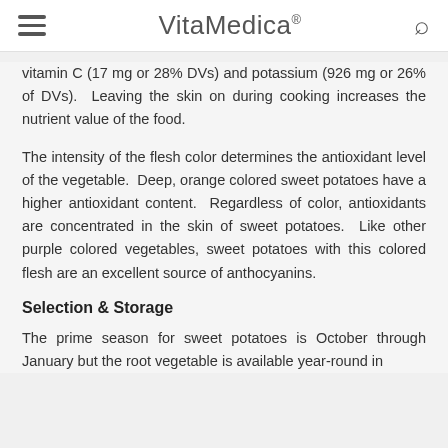VitaMedica®
vitamin C (17 mg or 28% DVs) and potassium (926 mg or 26% of DVs).  Leaving the skin on during cooking increases the nutrient value of the food.
The intensity of the flesh color determines the antioxidant level of the vegetable.  Deep, orange colored sweet potatoes have a higher antioxidant content.  Regardless of color, antioxidants are concentrated in the skin of sweet potatoes.  Like other purple colored vegetables, sweet potatoes with this colored flesh are an excellent source of anthocyanins.
Selection & Storage
The prime season for sweet potatoes is October through January but the root vegetable is available year-round in